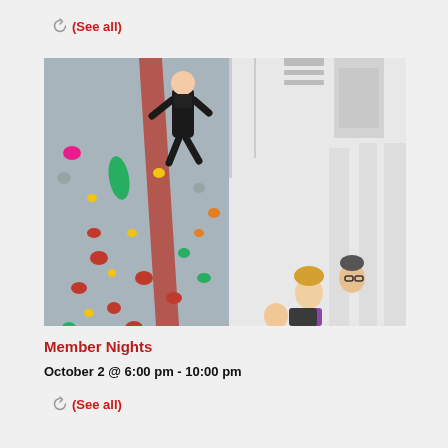(See all)
[Figure (photo): Indoor rock climbing wall with colorful holds (red, green, yellow, pink). A climber in black clothing hangs near the top of the wall. Below and to the right, spectators watch from the gym floor. The right side shows the interior structure of the climbing gym with white columns and ceiling.]
Member Nights
October 2 @ 6:00 pm  -  10:00 pm
(See all)